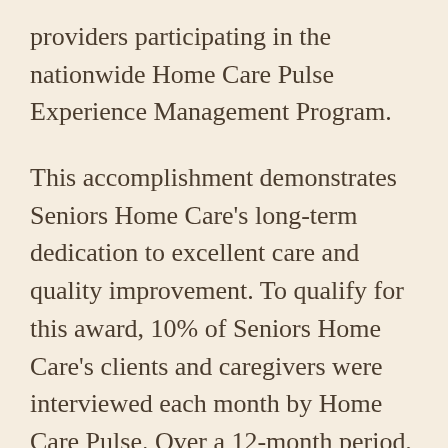providers participating in the nationwide Home Care Pulse Experience Management Program.
This accomplishment demonstrates Seniors Home Care's long-term dedication to excellent care and quality improvement. To qualify for this award, 10% of Seniors Home Care's clients and caregivers were interviewed each month by Home Care Pulse. Over a 12-month period, Seniors Home Care received high client and caregiver satisfaction ratings in areas such as caregiver training, compassion of caregivers, communication, scheduling, client/caregiver compatibility, and more. Using feedback from clients and caregivers, we continually work to improve f